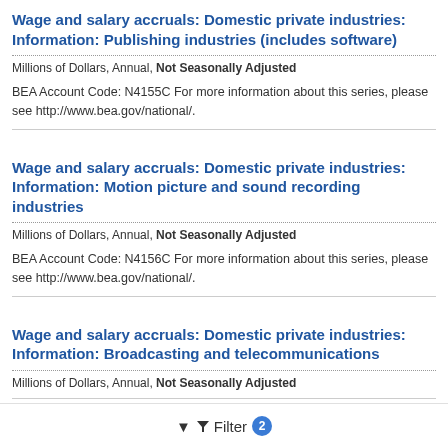Wage and salary accruals: Domestic private industries: Information: Publishing industries (includes software)
Millions of Dollars, Annual, Not Seasonally Adjusted
BEA Account Code: N4155C For more information about this series, please see http://www.bea.gov/national/.
Wage and salary accruals: Domestic private industries: Information: Motion picture and sound recording industries
Millions of Dollars, Annual, Not Seasonally Adjusted
BEA Account Code: N4156C For more information about this series, please see http://www.bea.gov/national/.
Wage and salary accruals: Domestic private industries: Information: Broadcasting and telecommunications
Millions of Dollars, Annual, Not Seasonally Adjusted
Filter 2